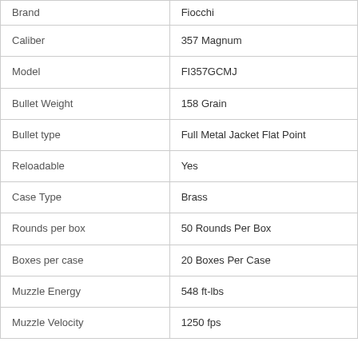| Attribute | Value |
| --- | --- |
| Brand | Fiocchi |
| Caliber | 357 Magnum |
| Model | FI357GCMJ |
| Bullet Weight | 158 Grain |
| Bullet type | Full Metal Jacket Flat Point |
| Reloadable | Yes |
| Case Type | Brass |
| Rounds per box | 50 Rounds Per Box |
| Boxes per case | 20 Boxes Per Case |
| Muzzle Energy | 548 ft-lbs |
| Muzzle Velocity | 1250 fps |